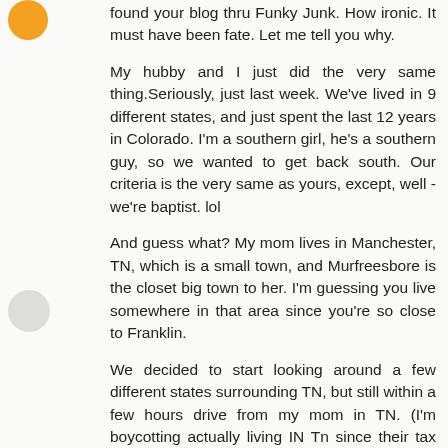found your blog thru Funky Junk. How ironic. It must have been fate. Let me tell you why.
My hubby and I just did the very same thing.Seriously, just last week. We've lived in 9 different states, and just spent the last 12 years in Colorado. I'm a southern girl, he's a southern guy, so we wanted to get back south. Our criteria is the very same as yours, except, well - we're baptist. lol
And guess what? My mom lives in Manchester, TN, which is a small town, and Murfreesbore is the closet big town to her. I'm guessing you live somewhere in that area since you're so close to Franklin.
We decided to start looking around a few different states surrounding TN, but still within a few hours drive from my mom in TN. (I'm boycotting actually living IN Tn since their tax rate is so high.)
We looked in Huntsville, AL as someone above suggested. It's a neat little town but not exactly what we were looking for.